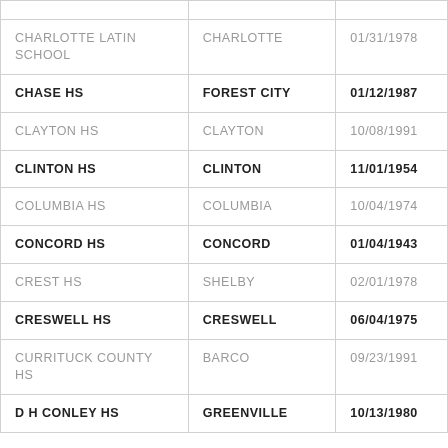| CHARLOTTE LATIN SCHOOL | CHARLOTTE | 01/31/1978 |
| CHASE HS | FOREST CITY | 01/12/1987 |
| CLAYTON HS | CLAYTON | 10/08/1991 |
| CLINTON HS | CLINTON | 11/01/1954 |
| COLUMBIA HS | COLUMBIA | 10/04/1974 |
| CONCORD HS | CONCORD | 01/04/1943 |
| CREST HS | SHELBY | 02/01/1978 |
| CRESWELL HS | CRESWELL | 06/04/1975 |
| CURRITUCK COUNTY HS | BARCO | 09/23/1991 |
| D H CONLEY HS | GREENVILLE | 10/13/1980 |